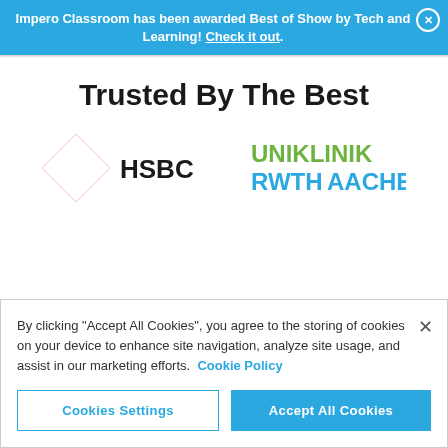Impero Classroom has been awarded Best of Show by Tech and Learning! Check it out.
Trusted By The Best
[Figure (logo): HSBC logo with red diamond shapes and HSBC text in black]
[Figure (logo): Uniklinik RWTH Aachen logo in green and blue text]
By clicking “Accept All Cookies”, you agree to the storing of cookies on your device to enhance site navigation, analyze site usage, and assist in our marketing efforts. Cookie Policy
Cookies Settings
Accept All Cookies